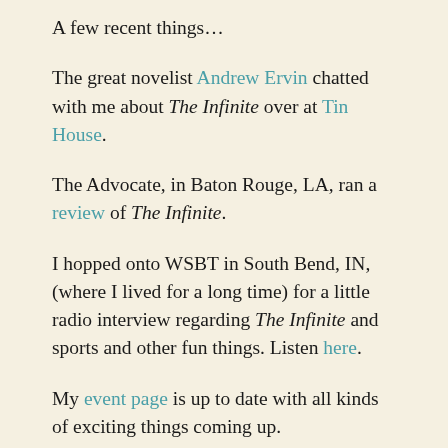A few recent things…
The great novelist Andrew Ervin chatted with me about The Infinite over at Tin House.
The Advocate, in Baton Rouge, LA, ran a review of The Infinite.
I hopped onto WSBT in South Bend, IN, (where I lived for a long time) for a little radio interview regarding The Infinite and sports and other fun things. Listen here.
My event page is up to date with all kinds of exciting things coming up.